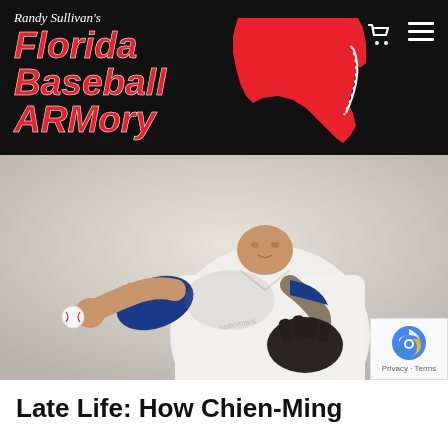Randy Sullivan's Florida Baseball ARMory
[Figure (photo): Baseball pitcher in white uniform with blue arm sleeve, winding up to throw a baseball, photographed against a light gray background. Wearing a black glove on the non-throwing hand.]
[Figure (logo): Google reCAPTCHA badge with Privacy and Terms links]
Late Life: How Chien-Ming